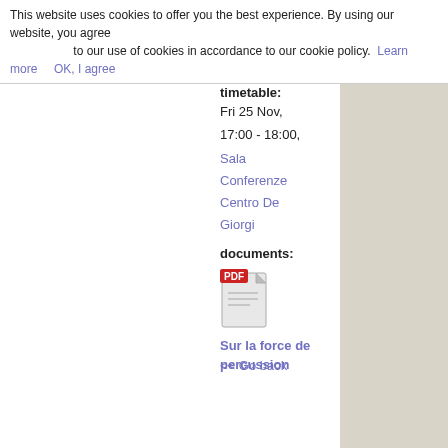This website uses cookies to offer you the best experience. By using our website, you agree to our use of cookies in accordance to our cookie policy. Learn more  OK, I agree
timetable:
Fri 25 Nov,
17:00 - 18:00,
Sala Conferenze Centro De Giorgi
documents:
[Figure (illustration): PDF document icon with red PDF label badge]
Sur la force de percussion
<< Go back